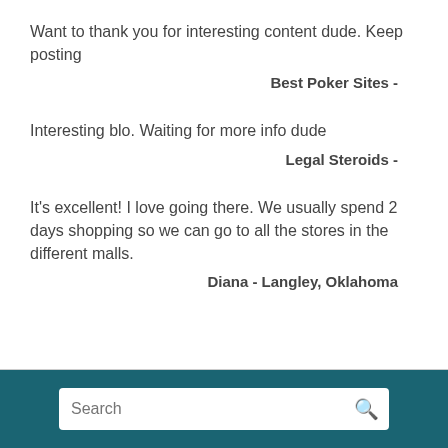Want to thank you for interesting content dude. Keep posting
Best Poker Sites -
Interesting blo. Waiting for more info dude
Legal Steroids -
It's excellent! I love going there. We usually spend 2 days shopping so we can go to all the stores in the different malls.
Diana - Langley, Oklahoma
Search